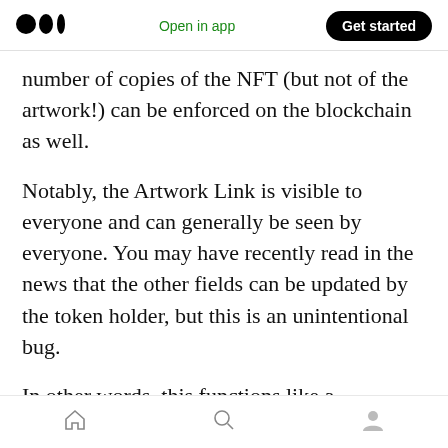Medium logo | Open in app | Get started
number of copies of the NFT (but not of the artwork!) can be enforced on the blockchain as well.
Notably, the Artwork Link is visible to everyone and can generally be seen by everyone. You may have recently read in the news that the other fields can be updated by the token holder, but this is an unintentional bug.
In other words, this functions like a collectable only. Much like a baseball card or limited-run comic book, everyone already knows what it
Home | Search | Profile